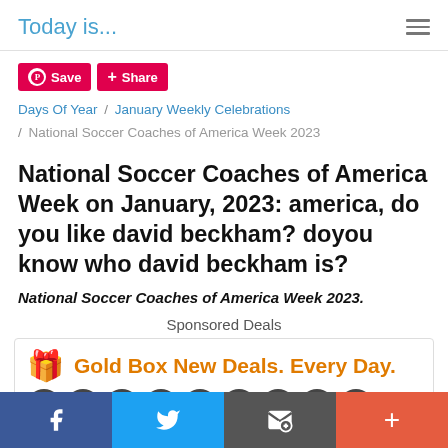Today is...
[Figure (screenshot): Pinterest Save and Share buttons (red)]
Days Of Year / January Weekly Celebrations / National Soccer Coaches of America Week 2023
National Soccer Coaches of America Week on January, 2023: america, do you like david beckham? doyou know who david beckham is?
National Soccer Coaches of America Week 2023.
Sponsored Deals
[Figure (screenshot): Amazon Gold Box New Deals. Every Day. advertisement banner with product thumbnails]
Facebook | Twitter | Email | More share options